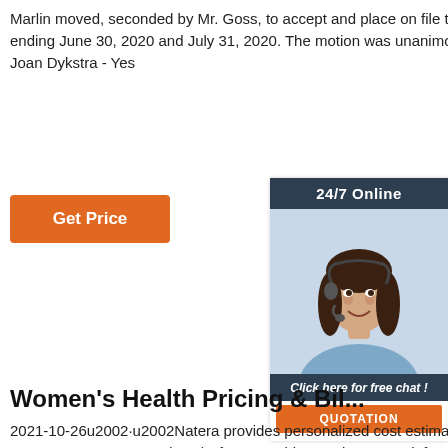Marlin moved, seconded by Mr. Goss, to accept and place on file the List of Bills for periods ending June 30, 2020 and July 31, 2020. The motion was unanimously carried. Roll Call: Joan Dykstra - Yes
[Figure (other): Orange 'Get Price' button]
[Figure (other): Advertisement widget with dark header '24/7 Online', photo of a woman with headset smiling, dark footer 'Click here for free chat!' and orange 'QUOTATION' button]
Women's Health Pricing & Bil...
2021-10-26u2002·u2002Natera provides personalized cost estimates through our Price Transparency Program (PTP). If you provide your insurance information, and we estimate your out-of-pocket cost to exceed our cash price, we will contact you to discuss alternative payment options. For Panorama or Horizon cost estimates, text us 650 210 7046 or email us at estimate ...